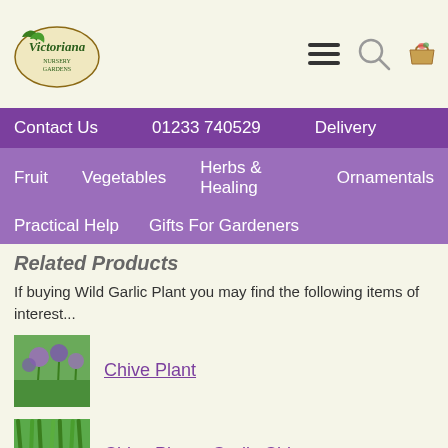Victoriana Nursery Gardens — logo and navigation header
Contact Us  01233 740529  Delivery
Fruit  Vegetables  Herbs & Healing  Ornamentals
Practical Help  Gifts For Gardeners
Related Products
If buying Wild Garlic Plant you may find the following items of interest...
[Figure (photo): Purple chive flowers photo thumbnail]
Chive Plant
[Figure (photo): Green garlic chives plant photo thumbnail]
Chive Plant - Garlic Chives
[Figure (photo): Third related plant photo thumbnail (partially visible)]